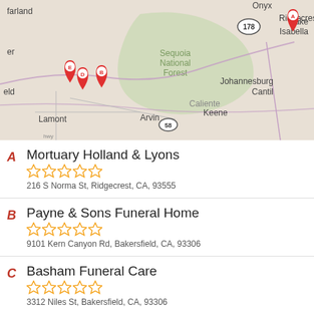[Figure (map): Google Maps screenshot showing Kern County / Sequoia National Forest area with map pins labeled A (Ridgecrest), B, D, E (Bakersfield area). Shows locations: Lake Isabella, Onyx, Ridgecrest, Sequoia National Forest, Johannesburg, Cantil, Lamont, Arvin, Caliente, Keene. Route 178 and 58 visible.]
A - Mortuary Holland & Lyons - 216 S Norma St, Ridgecrest, CA, 93555
B - Payne & Sons Funeral Home - 9101 Kern Canyon Rd, Bakersfield, CA, 93306
C - Basham Funeral Care - 3312 Niles St, Bakersfield, CA, 93306
D - Alma Funeral Home & Crematory